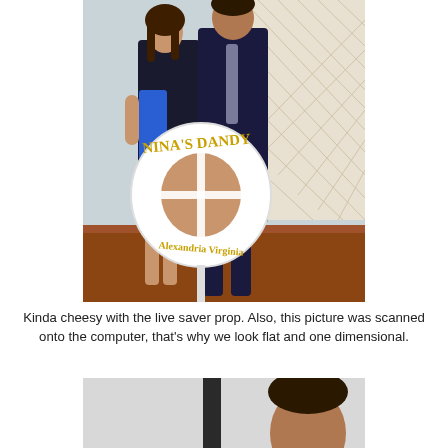[Figure (photo): Two people posing together on a dock, woman in blue and black dress, man in dark suit with tie. A white life preserver ring in foreground reads 'NINA'S DANDY' and 'Alexandria Virginia'. Lattice fencing in background.]
Kinda cheesy with the live saver prop. Also, this picture was scanned onto the computer, that's why we look flat and one dimensional.
[Figure (photo): Partial photo showing a person's head partially visible on the right side of the frame, with a dark vertical pole or post in the center, light gray background.]